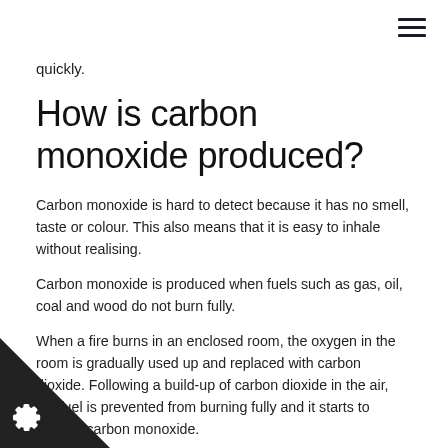quickly.
How is carbon monoxide produced?
Carbon monoxide is hard to detect because it has no smell, taste or colour. This also means that it is easy to inhale without realising.
Carbon monoxide is produced when fuels such as gas, oil, coal and wood do not burn fully.
When a fire burns in an enclosed room, the oxygen in the room is gradually used up and replaced with carbon dioxide. Following a build-up of carbon dioxide in the air, the fuel is prevented from burning fully and it starts to release carbon monoxide.
uses of carbon